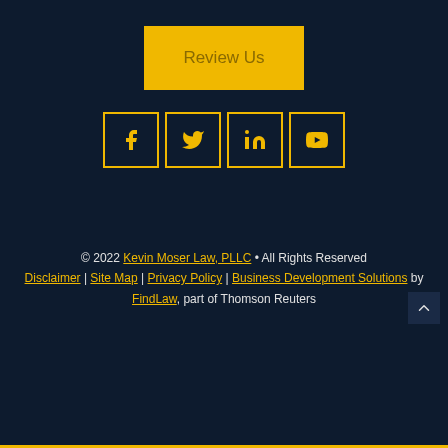[Figure (other): Yellow 'Review Us' button centered on dark navy background]
[Figure (other): Four social media icon boxes (Facebook, Twitter, LinkedIn, YouTube) with yellow borders and icons on dark navy background]
© 2022 Kevin Moser Law, PLLC • All Rights Reserved Disclaimer | Site Map | Privacy Policy | Business Development Solutions by FindLaw, part of Thomson Reuters